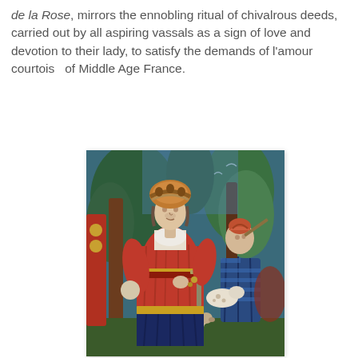de la Rose, mirrors the ennobling ritual of chivalrous deeds, carried out by all aspiring vassals as a sign of love and devotion to their lady, to satisfy the demands of l'amour courtois  of Middle Age France.
[Figure (photo): A medieval tapestry depicting a nobleman in a red robe and ornate headdress standing prominently, with a musician playing a flute in the background, and a dog at the feet, set against a lush garden background with trees and birds.]